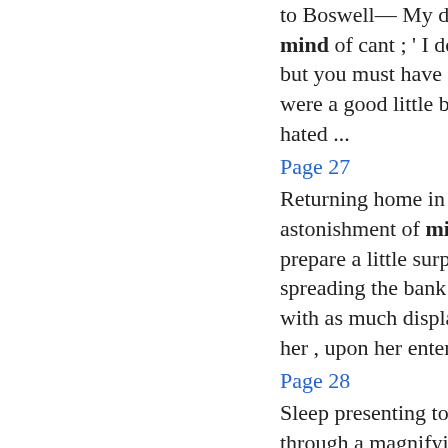to Boswell— My dear Sir , clear your mind of cant ; ' I do not ask you to play ; but you must have often read , when you were a good little boy , tható Vice to be hated ...
Page 27
Returning home in some perturbation and astonishment of mind , I resolved to prepare a little surprise for my wife ; and spreading the bank notes upon the table with as much display as possible , I told her , upon her entering the room ...
Page 28
Sleep presenting to me the same images through a magnifying glass , I went forth next